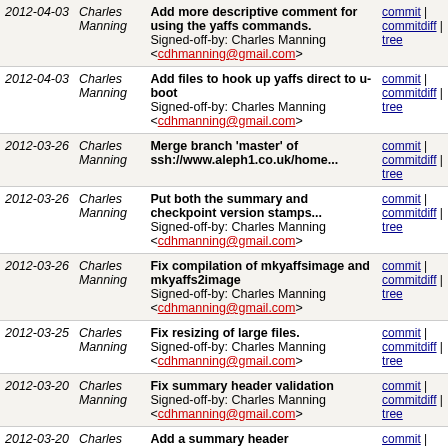| Date | Author | Commit message | Links |
| --- | --- | --- | --- |
| 2012-04-03 | Charles Manning | Add more descriptive comment for using the yaffs commands.
Signed-off-by: Charles Manning <cdhmanning@gmail.com> | commit | commitdiff | tree |
| 2012-04-03 | Charles Manning | Add files to hook up yaffs direct to u-boot
Signed-off-by: Charles Manning <cdhmanning@gmail.com> | commit | commitdiff | tree |
| 2012-03-26 | Charles Manning | Merge branch 'master' of ssh://www.aleph1.co.uk/home... | commit | commitdiff | tree |
| 2012-03-26 | Charles Manning | Put both the summary and checkpoint version stamps...
Signed-off-by: Charles Manning <cdhmanning@gmail.com> | commit | commitdiff | tree |
| 2012-03-26 | Charles Manning | Fix compilation of mkyaffsimage and mkyaffs2image
Signed-off-by: Charles Manning <cdhmanning@gmail.com> | commit | commitdiff | tree |
| 2012-03-25 | Charles Manning | Fix resizing of large files.
Signed-off-by: Charles Manning <cdhmanning@gmail.com> | commit | commitdiff | tree |
| 2012-03-20 | Charles Manning | Fix summary header validation
Signed-off-by: Charles Manning <cdhmanning@gmail.com> | commit | commitdiff | tree |
| 2012-03-20 | Charles Manning | Add a summary header
Signed-off-by: Charles Manning <cdhmanning@gmail.com> | commit | commitdiff | tree |
| 2012- | Charles | Remove extra line from banner. | commit | |